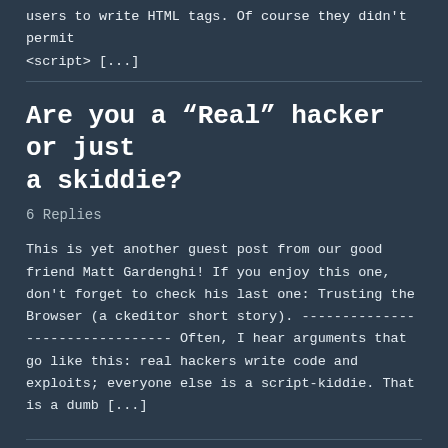users to write HTML tags. Of course they didn't permit <script> [...]
Are you a “Real” hacker or just a skiddie?
6 Replies
This is yet another guest post from our good friend Matt Gardenghi! If you enjoy this one, don't forget to check his last one: Trusting the Browser (a ckeditor short story). -------------------------------- Often, I hear arguments that go like this: real hackers write code and exploits; everyone else is a script-kiddie. That is a dumb [...]
Trusting the Browser (a